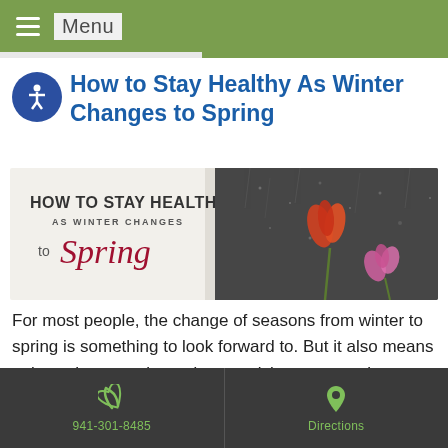Menu
How to Stay Healthy As Winter Changes to Spring
[Figure (illustration): Banner image with text 'HOW TO STAY HEALTHY AS WINTER CHANGES to Spring' on left side and photo of flowers (tulip and magnolia) in rain/snow on right side]
For most people, the change of seasons from winter to spring is something to look forward to. But it also means a time when people tend to get sick or seasonal allergies start to flare up. This can make things miserable for a lot of people.... Read the rest
941-301-8485   Directions